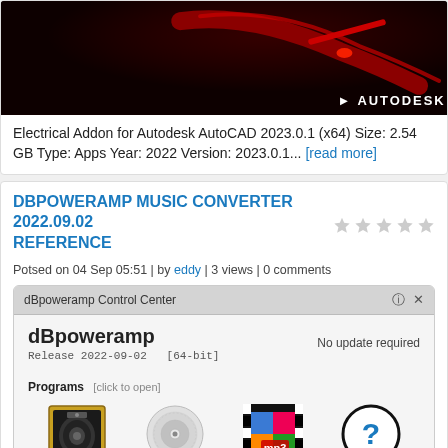[Figure (screenshot): Autodesk AutoCAD product image with dark red background and Autodesk logo]
Electrical Addon for Autodesk AutoCAD 2023.0.1 (x64) Size: 2.54 GB Type: Apps Year: 2022 Version: 2023.0.1... [read more]
DBPOWERAMP MUSIC CONVERTER 2022.09.02 REFERENCE
Potsed on 04 Sep 05:51 | by eddy | 3 views | 0 comments
[Figure (screenshot): dBpoweramp Control Center application screenshot showing dBpoweramp Release 2022-09-02 [64-bit], No update required, Programs section with Music Converter, CD Ripper, Batch Converter, Help icons, and Reference Registered status]